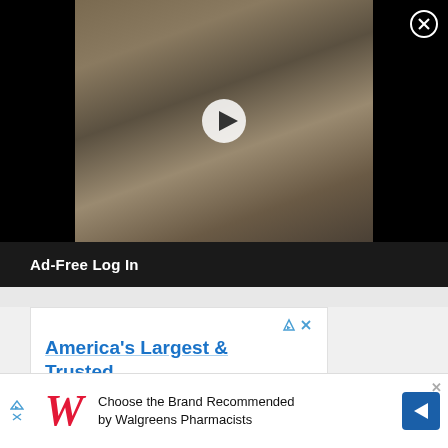[Figure (screenshot): Video player showing children walking outside a school building. A white play button triangle is overlaid in the center. A close (X) button is in the top right corner.]
Ad-Free Log In
[Figure (screenshot): Advertisement box for Nexient. Headline: America's Largest & Trusted. Body: Product-minded approach to software architecture consulting through agile development. Source: Nexient. Blue CTA button at bottom.]
[Figure (screenshot): Bottom banner advertisement: Choose the Brand Recommended by Walgreens Pharmacists. Walgreens W logo on left, blue arrow icon on right. Small X close button top right.]